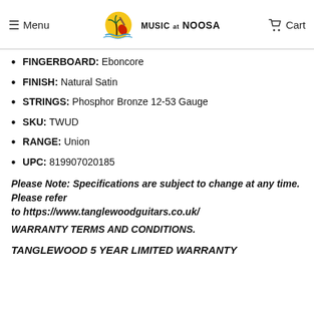Menu | Music at Noosa | Cart
FINGERBOARD: Eboncore
FINISH: Natural Satin
STRINGS: Phosphor Bronze 12-53 Gauge
SKU: TWUD
RANGE: Union
UPC: 819907020185
Please Note: Specifications are subject to change at any time. Please refer to https://www.tanglewoodguitars.co.uk/
WARRANTY TERMS AND CONDITIONS.
TANGLEWOOD 5 YEAR LIMITED WARRANTY